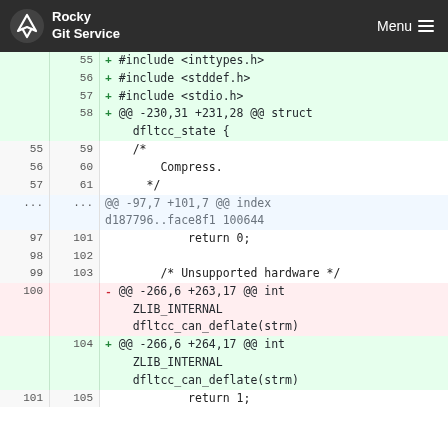Rocky Git Service  Menu
Code diff view showing lines 55-105 of a git diff for a C source file including #include additions and @@ hunk headers, with added lines (green) and removed lines (red).